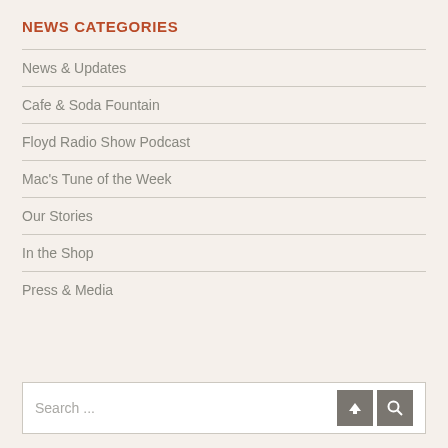NEWS CATEGORIES
News & Updates
Cafe & Soda Fountain
Floyd Radio Show Podcast
Mac's Tune of the Week
Our Stories
In the Shop
Press & Media